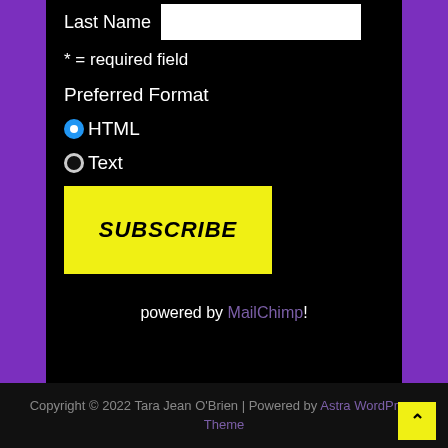Last Name
* = required field
Preferred Format
HTML (selected)
Text
SUBSCRIBE
powered by MailChimp!
Copyright © 2022 Tara Jean O'Brien | Powered by Astra WordPress Theme